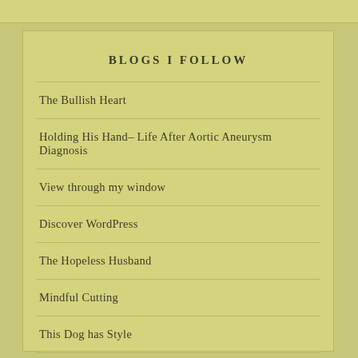BLOGS I FOLLOW
The Bullish Heart
Holding His Hand– Life After Aortic Aneurysm Diagnosis
View through my window
Discover WordPress
The Hopeless Husband
Mindful Cutting
This Dog has Style
L I V i n g